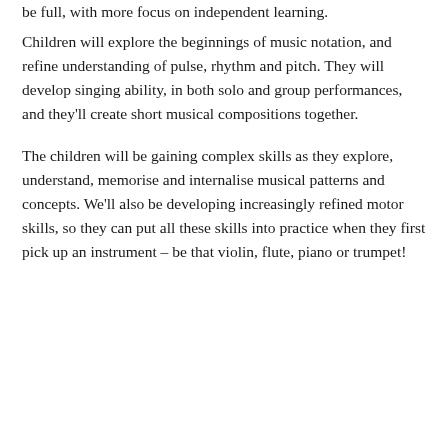be full, with more focus on independent learning.
Children will explore the beginnings of music notation, and refine understanding of pulse, rhythm and pitch. They will develop singing ability, in both solo and group performances, and they'll create short musical compositions together.
The children will be gaining complex skills as they explore, understand, memorise and internalise musical patterns and concepts. We'll also be developing increasingly refined motor skills, so they can put all these skills into practice when they first pick up an instrument – be that violin, flute, piano or trumpet!